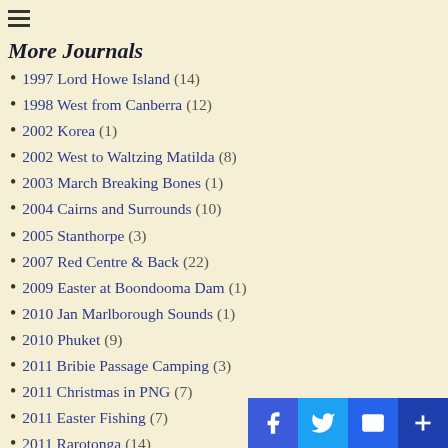≡
More Journals
1997 Lord Howe Island (14)
1998 West from Canberra (12)
2002 Korea (1)
2002 West to Waltzing Matilda (8)
2003 March Breaking Bones (1)
2004 Cairns and Surrounds (10)
2005 Stanthorpe (3)
2007 Red Centre & Back (22)
2009 Easter at Boondooma Dam (1)
2010 Jan Marlborough Sounds (1)
2010 Phuket (9)
2011 Bribie Passage Camping (3)
2011 Christmas in PNG (7)
2011 Easter Fishing (7)
2011 Rarotonga (14)
2012 Expensive Flat Tire (2)
2012 Talawi PNG (6)
2015 Oct Taiwan (4)
2016 Christmas Island (1)
2016 Feb NZ (1)